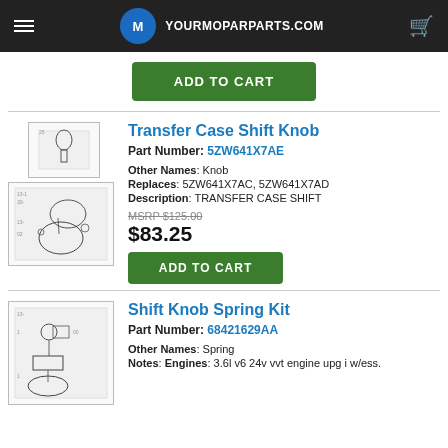YOURMOPARPARTS.COM
ADD TO CART
Transfer Case Shift Knob
Part Number: 5ZW641X7AE
Other Names: Knob
Replaces: 5ZW641X7AC, 5ZW641X7AD
Description: TRANSFER CASE SHIFT
MSRP $125.00
$83.25
ADD TO CART
Shift Knob Spring Kit
Part Number: 68421629AA
Other Names: Spring
Notes: Engines: 3.6l v6 24v vvt engine upg i w/ess.